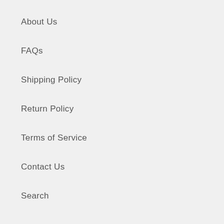About Us
FAQs
Shipping Policy
Return Policy
Terms of Service
Contact Us
Search